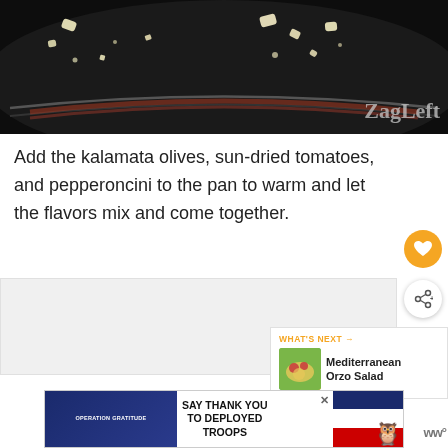[Figure (photo): Close-up photo of a dark non-stick pan with minced garlic pieces cooking, with a watermark reading 'ZagLeft' in the bottom right corner]
Add the kalamata olives, sun-dried tomatoes, and pepperoncini to the pan to warm and let the flavors mix and come together.
[Figure (infographic): WHAT'S NEXT arrow label with Mediterranean Orzo Salad recipe thumbnail and title]
[Figure (photo): Advertisement banner: Operation Gratitude - SAY THANK YOU TO DEPLOYED TROOPS with patriotic imagery and cartoon character]